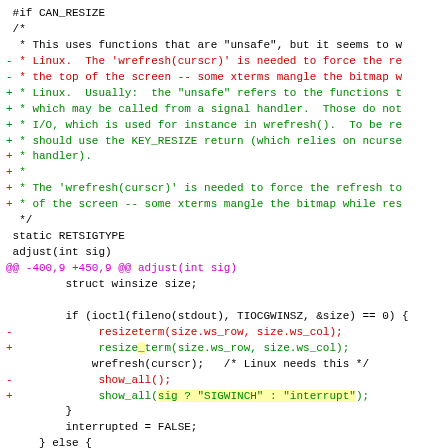Diff/patch code showing changes to a C source file involving CAN_RESIZE, adjust(int sig), wrefresh, resizeterm, show_all functions